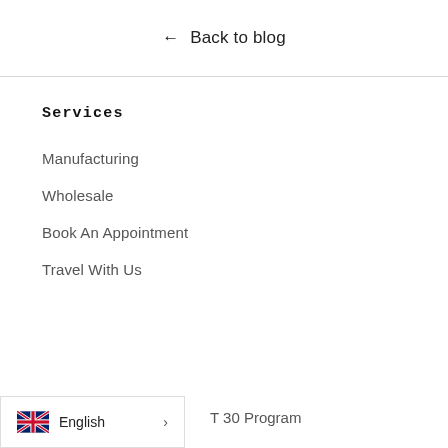← Back to blog
Services
Manufacturing
Wholesale
Book An Appointment
Travel With Us
English →
T 30 Program